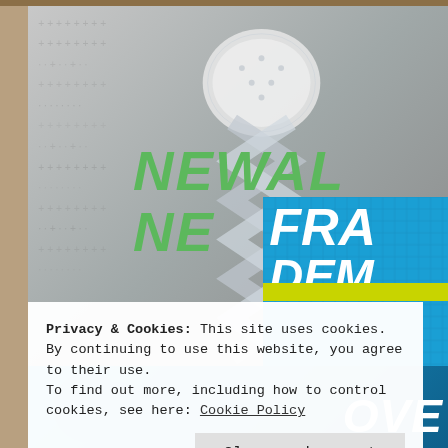[Figure (screenshot): Screenshot of a website showing a promotional banner with green text 'NEWALL' and 'NEW' overlaid on a grey dotted background with a white sphere/rope shape, and a blue panel with white bold italic text 'FRA' and 'DEM' on the right side. Below is a cookie consent dialog saying 'Privacy & Cookies: This site uses cookies. By continuing to use this website, you agree to their use. To find out more, including how to control cookies, see here: Cookie Policy' with a 'Close and accept' button.]
Privacy & Cookies: This site uses cookies. By continuing to use this website, you agree to their use.
To find out more, including how to control cookies, see here: Cookie Policy
Close and accept